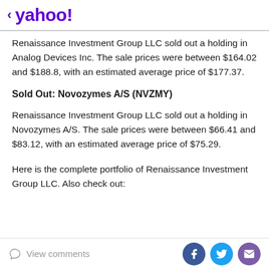< yahoo!
Renaissance Investment Group LLC sold out a holding in Analog Devices Inc. The sale prices were between $164.02 and $188.8, with an estimated average price of $177.37.
Sold Out: Novozymes A/S (NVZMY)
Renaissance Investment Group LLC sold out a holding in Novozymes A/S. The sale prices were between $66.41 and $83.12, with an estimated average price of $75.29.
Here is the complete portfolio of Renaissance Investment Group LLC. Also check out:
View comments